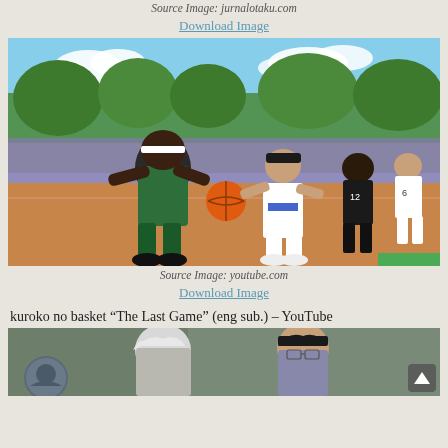Source Image: jurnalotaku.com
Download Image
[Figure (illustration): Anime basketball scene from Kuroko no Basket: a tall dark-skinned player in a green uniform dribbling against a shorter player in white, with crowd and trees in background, orange basketball court]
Source Image: youtube.com
Download Image
kuroko no basket "The Last Game" (eng sub.) – YouTube
[Figure (screenshot): YouTube video thumbnail showing anime characters from Kuroko no Basket: white-haired character on left, dark-haired character with glasses on right, muted green-gray tones, with a small circular channel avatar in bottom left and a scroll-to-top arrow button on the right]